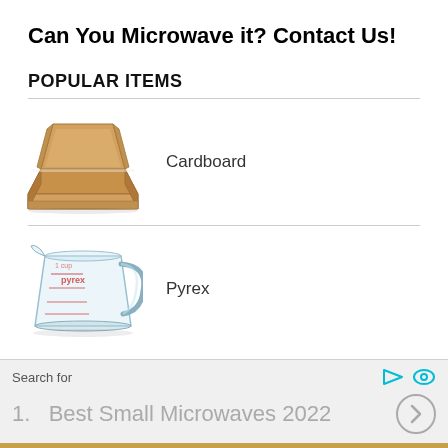Can You Microwave it? Contact Us!
POPULAR ITEMS
[Figure (photo): Open cardboard pizza box, brown corrugated cardboard, lid open]
Cardboard
[Figure (photo): Pyrex glass measuring cup with red markings and handle]
Pyrex
Search for
1.  Best Small Microwaves 2022